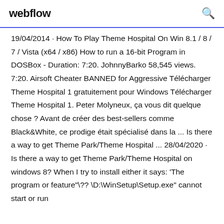webflow
19/04/2014 · How To Play Theme Hospital On Win 8.1 / 8 / 7 / Vista (x64 / x86) How to run a 16-bit Program in DOSBox - Duration: 7:20. JohnnyBarko 58,545 views. 7:20. Airsoft Cheater BANNED for Aggressive Télécharger Theme Hospital 1 gratuitement pour Windows Télécharger Theme Hospital 1. Peter Molyneux, ça vous dit quelque chose ? Avant de créer des best-sellers comme Black&White, ce prodige était spécialisé dans la ... Is there a way to get Theme Park/Theme Hospital ... 28/04/2020 · Is there a way to get Theme Park/Theme Hospital on windows 8? When I try to install either it says: 'The program or feature"\?? \D:\WinSetup\Setup.exe" cannot start or run